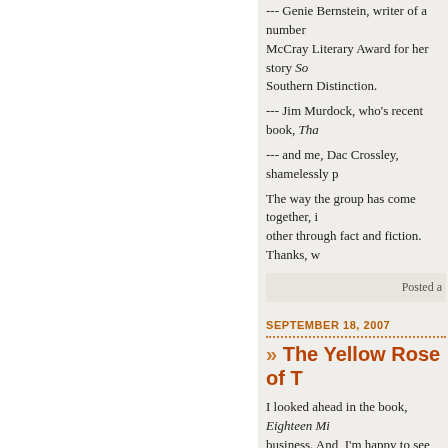--- Genie Bernstein, writer of a number of ... McCray Literary Award for her story So... Southern Distinction.
--- Jim Murdock, who's recent book, Tha...
--- and me, Dac Crossley, shamelessly p...
The way the group has come together, i... other through fact and fiction. Thanks, w...
Posted a...
SEPTEMBER 18, 2007
» The Yellow Rose of T...
I looked ahead in the book, Eighteen Mi... business. And, I'm happy to see, he dow... the Yellow Rose of Texas was the woma... when the Texas army attacked.
The author just thought it was a footnote... version of the Yellow Rose from the 195...
I've always thought that the Yellow Rose... Doesn't that make more sense. Anyway...
Tonight, I didn't get any writing done. My... The Foundry. That place is an actual civ... good motel, restaurant and bar named t... under the stars, and listened to Johnny... beers (Terrapin). Turns out, I knew the li... Music was excellent -- what wasn't good...